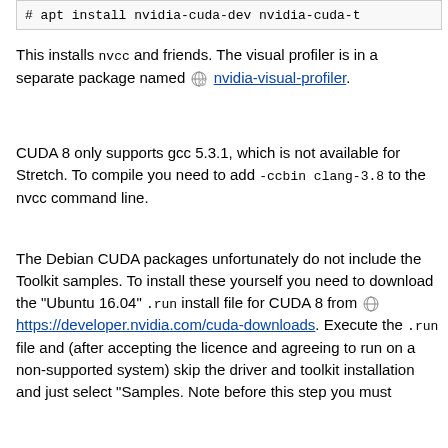# apt install nvidia-cuda-dev nvidia-cuda-t
This installs nvcc and friends. The visual profiler is in a separate package named nvidia-visual-profiler.
CUDA 8 only supports gcc 5.3.1, which is not available for Stretch. To compile you need to add -ccbin clang-3.8 to the nvcc command line.
The Debian CUDA packages unfortunately do not include the Toolkit samples. To install these yourself you need to download the "Ubuntu 16.04" .run install file for CUDA 8 from https://developer.nvidia.com/cuda-downloads. Execute the .run file and (after accepting the licence and agreeing to run on a non-supported system) skip the driver and toolkit installation and just select "Samples. Note before this step you must